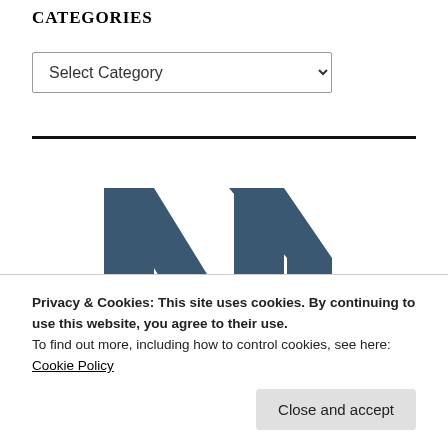CATEGORIES
Select Category
[Figure (logo): An 'N' shaped logo in dark slate blue color, part of a SQL blog website logo]
Privacy & Cookies: This site uses cookies. By continuing to use this website, you agree to their use.
To find out more, including how to control cookies, see here:
Cookie Policy
Close and accept